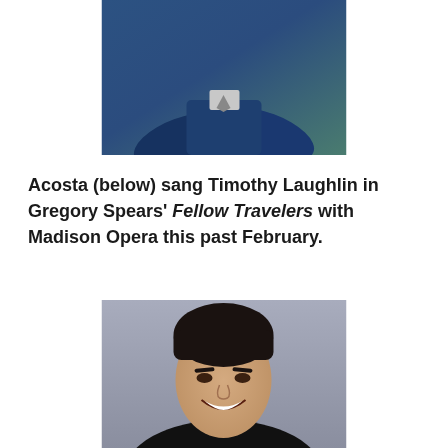[Figure (photo): Photo of a person in a blue suit with arms crossed, cropped to show torso and lower face area]
Acosta (below) sang Timothy Laughlin in Gregory Spears' Fellow Travelers with Madison Opera this past February.
[Figure (photo): Headshot portrait of a smiling young man with dark hair wearing a black jacket, against a gray background]